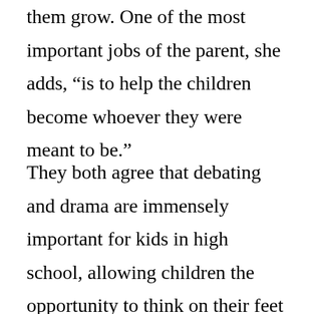them grow. One of the most important jobs of the parent, she adds, “is to help the children become whoever they were meant to be.”
They both agree that debating and drama are immensely important for kids in high school, allowing children the opportunity to think on their feet and stand up for what they believe in. Marjorie and Al always put up a united front and their kids couldn’t pit mother against father. Their mantra for their children